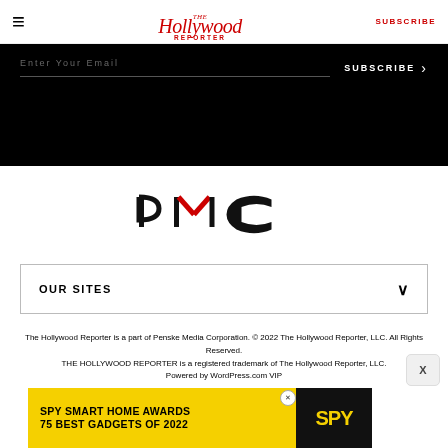The Hollywood Reporter — SUBSCRIBE
[Figure (screenshot): Black banner area with email subscription input and SUBSCRIBE button]
[Figure (logo): PMC logo — stylized text PMC with a red checkmark above the M]
OUR SITES
The Hollywood Reporter is a part of Penske Media Corporation. © 2022 The Hollywood Reporter, LLC. All Rights Reserved. THE HOLLYWOOD REPORTER is a registered trademark of The Hollywood Reporter, LLC. Powered by WordPress.com VIP
[Figure (screenshot): SPY Smart Home Awards advertisement banner: SPY SMART HOME AWARDS 75 BEST GADGETS OF 2022 with yellow background and SPY logo]